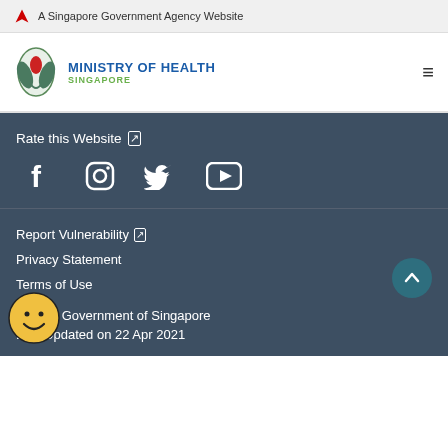A Singapore Government Agency Website
[Figure (logo): Ministry of Health Singapore logo with text MINISTRY OF HEALTH SINGAPORE]
Rate this Website ↗
[Figure (infographic): Social media icons: Facebook, Instagram, Twitter, YouTube]
Report Vulnerability ↗
Privacy Statement
Terms of Use
© 2021 Government of Singapore
Last Updated on 22 Apr 2021